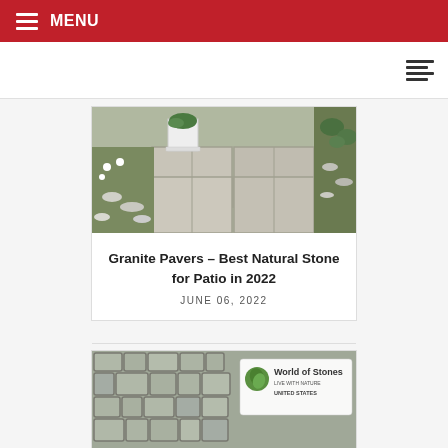MENU
[Figure (photo): Granite paver patio with white planter and surrounding garden with white stones and flowers]
Granite Pavers – Best Natural Stone for Patio in 2022
JUNE 06, 2022
[Figure (photo): Cobblestone pavers with World of Stones logo overlay — Live with Nature, United States]